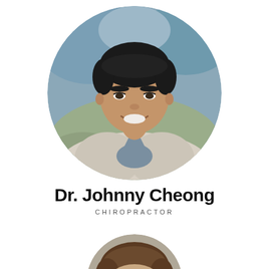[Figure (photo): Circular cropped portrait photo of Dr. Johnny Cheong, a young Asian man with short dark hair, smiling broadly, wearing a light grey knit cardigan over a grey v-neck shirt, with a blurred outdoor background in blues and greens.]
Dr. Johnny Cheong
CHIROPRACTOR
[Figure (photo): Circular cropped portrait photo of a second person, partially visible at the bottom of the page, showing the top of a head with dark brown hair.]